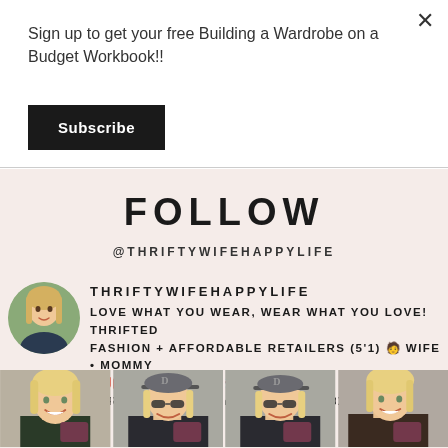Sign up to get your free Building a Wardrobe on a Budget Workbook!!
Subscribe
FOLLOW
@THRIFTYWIFEHAPPYLIFE
THRIFTYWIFEHAPPYLIFE
LOVE WHAT YOU WEAR, WEAR WHAT YOU LOVE! THRIFTED FASHION + AFFORDABLE RETAILERS (5'1) 🧑 WIFE • MOMMY 💙❤️🍷 MICHIGAN 💌 THRIFTYWIFEHAPPYLIFE@GMAIL.COM
[Figure (photo): Grid of four photos showing a blonde woman, some wearing a gray baseball cap, holding a phone]
[Figure (photo): Circular profile photo of a blonde woman]